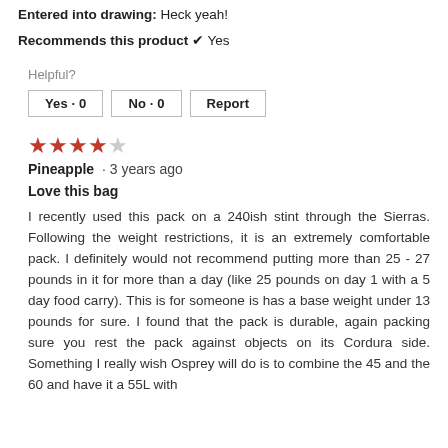Entered into drawing: Heck yeah!
Recommends this product ✔ Yes
Helpful?
Yes · 0   No · 0   Report
★★★★☆ Pineapple · 3 years ago
Love this bag
I recently used this pack on a 240ish stint through the Sierras. Following the weight restrictions, it is an extremely comfortable pack. I definitely would not recommend putting more than 25 - 27 pounds in it for more than a day (like 25 pounds on day 1 with a 5 day food carry). This is for someone is has a base weight under 13 pounds for sure. I found that the pack is durable, again packing sure you rest the pack against objects on its Cordura side. Something I really wish Osprey will do is to combine the 45 and the 60 and have it a 55L with